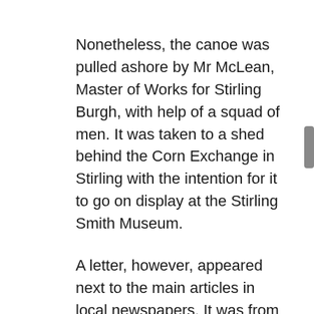Nonetheless, the canoe was pulled ashore by Mr McLean, Master of Works for Stirling Burgh, with help of a squad of men. It was taken to a shed behind the Corn Exchange in Stirling with the intention for it to go on display at the Stirling Smith Museum.
A letter, however, appeared next to the main articles in local newspapers. It was from man called William Johnson, a local from Shore Road in Stirling. He disgruntledly stated that he had originally found the canoe on 27th April and had been very poorly treated by Provost Christie on the matter. He believed the canoe dated back to the time of the Picts.
He remarked that he received no recognition from the Town Council for finding the canoe and had been